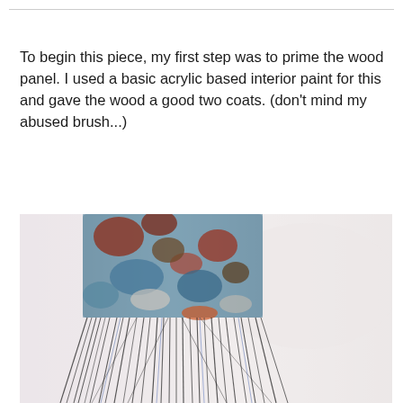To begin this piece, my first step was to prime the wood panel. I used a basic acrylic based interior paint for this and gave the wood a good two coats. (don't mind my abused brush...)
[Figure (photo): Close-up photograph of a heavily used, paint-covered paintbrush with splayed bristles covered in multiple colors including blue, red, brown, and white paint.]